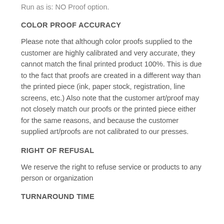Run as is: NO Proof  option.
COLOR PROOF ACCURACY
Please note that although color proofs supplied to the customer are highly calibrated and very accurate, they cannot match the final printed product 100%. This is due to the fact that proofs are created in a different way than the printed piece (ink, paper stock, registration, line screens, etc.) Also note that the customer art/proof may not closely match our proofs or the printed piece either for the same reasons, and because the customer supplied art/proofs are not calibrated to our presses.
RIGHT OF REFUSAL
We reserve the right to refuse service or products to any person or organization
TURNAROUND TIME